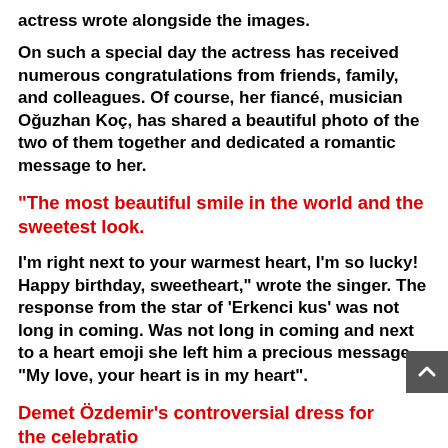actress wrote alongside the images.
On such a special day the actress has received numerous congratulations from friends, family, and colleagues. Of course, her fiancé, musician Oğuzhan Koç, has shared a beautiful photo of the two of them together and dedicated a romantic message to her.
"The most beautiful smile in the world and the sweetest look.
I'm right next to your warmest heart, I'm so lucky! Happy birthday, sweetheart," wrote the singer. The response from the star of 'Erkenci kus' was not long in coming. Was not long in coming and next to a heart emoji she left him a precious message. "My love, your heart is in my heart".
Demet Özdemir's controversial dress for the celebrations
The birthday look chosen by Demet Özdemir was much